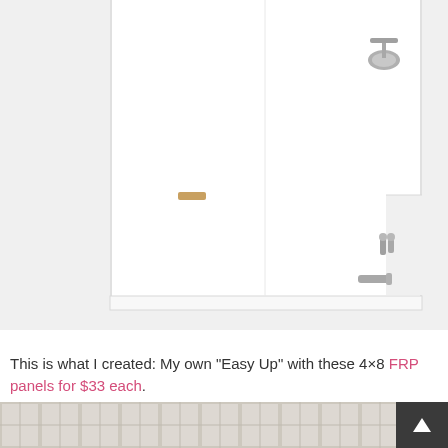[Figure (photo): White bathroom shower/tub surround with white FRP panels installed. A chrome shower head is visible in the upper right area. A small soap dish or bar holder is visible on the left wall. Chrome faucet handles and tub spout are visible in the lower right. The walls are smooth white panels.]
This is what I created: My own "Easy Up" with these 4×8 FRP panels for $33 each.